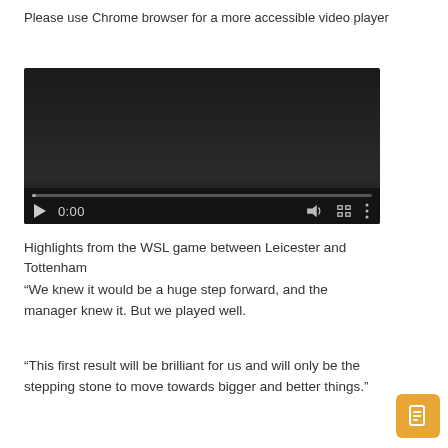Please use Chrome browser for a more accessible video player
[Figure (screenshot): Video player with black background showing controls: play button, timestamp 0:00, volume icon, fullscreen icon, and options icon. A progress bar is at the bottom.]
Highlights from the WSL game between Leicester and Tottenham
“We knew it would be a huge step forward, and the manager knew it. But we played well.
“This first result will be brilliant for us and will only be the stepping stone to move towards bigger and better things.”